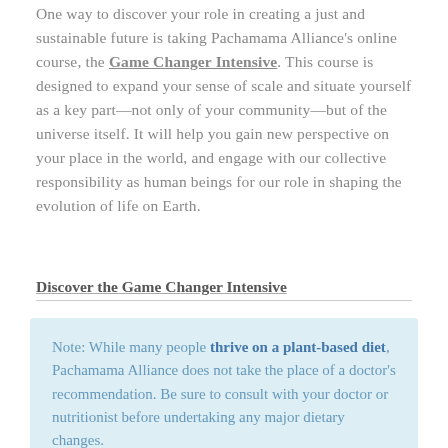One way to discover your role in creating a just and sustainable future is taking Pachamama Alliance's online course, the Game Changer Intensive. This course is designed to expand your sense of scale and situate yourself as a key part—not only of your community—but of the universe itself. It will help you gain new perspective on your place in the world, and engage with our collective responsibility as human beings for our role in shaping the evolution of life on Earth.
Discover the Game Changer Intensive
Note: While many people thrive on a plant-based diet, Pachamama Alliance does not take the place of a doctor's recommendation. Be sure to consult with your doctor or nutritionist before undertaking any major dietary changes.